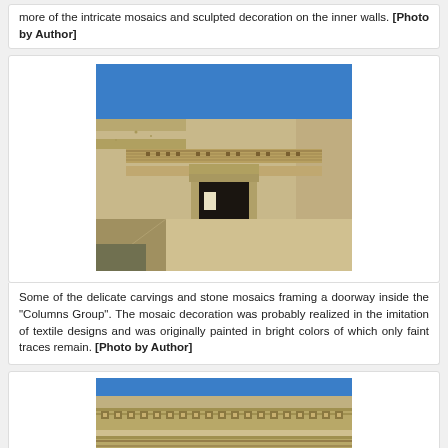more of the intricate mosaics and sculpted decoration on the inner walls. [Photo by Author]
[Figure (photo): Photograph of a stone doorway inside the Columns Group at Mitla, showing carved stone mosaic decoration framing the entrance, with a courtyard in front and blue sky above.]
Some of the delicate carvings and stone mosaics framing a doorway inside the "Columns Group". The mosaic decoration was probably realized in the imitation of textile designs and was originally painted in bright colors of which only faint traces remain. [Photo by Author]
[Figure (photo): Photograph showing close-up view of stone mosaic frieze and carved decorative panels on the exterior wall of the Columns Group at Mitla, with blue sky above.]